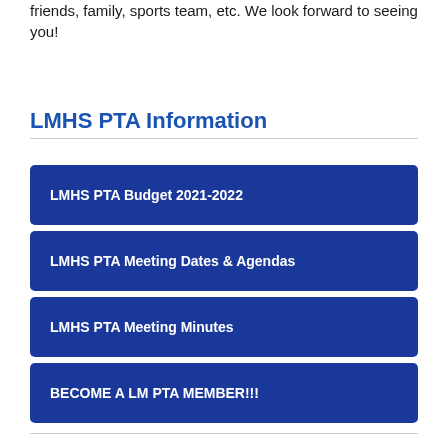friends, family, sports team, etc. We look forward to seeing you!
LMHS PTA Information
LMHS PTA Budget 2021-2022
LMHS PTA Meeting Dates & Agendas
LMHS PTA Meeting Minutes
BECOME A LM PTA MEMBER!!!